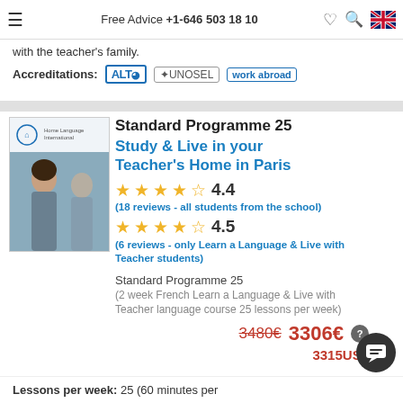Free Advice +1-646 503 18 10
with the teacher's family.
Accreditations: ALT UNOSEL work abroad
Standard Programme 25
Study & Live in your Teacher's Home in Paris
4.4
(18 reviews - all students from the school)
4.5
(6 reviews - only Learn a Language & Live with Teacher students)
Standard Programme 25
(2 week French Learn a Language & Live with Teacher language course 25 lessons per week)
3480€  3306€
3315US$
Lessons per week: 25 (60 minutes per